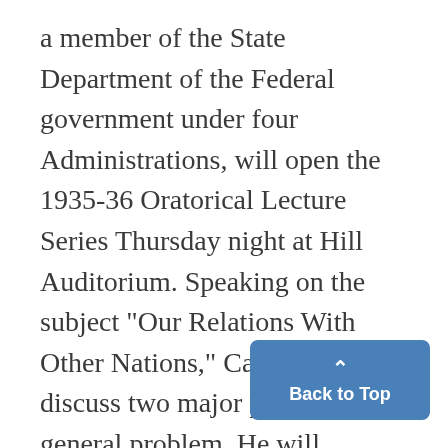a member of the State Department of the Federal government under four Administrations, will open the 1935-36 Oratorical Lecture Series Thursday night at Hill Auditorium. Speaking on the subject "Our Relations With Other Nations," Castle will discuss two major phases of this general problem. He will consider first the economic relations of this country with other nations, including under this phase questions as to international money values and trade agreements.